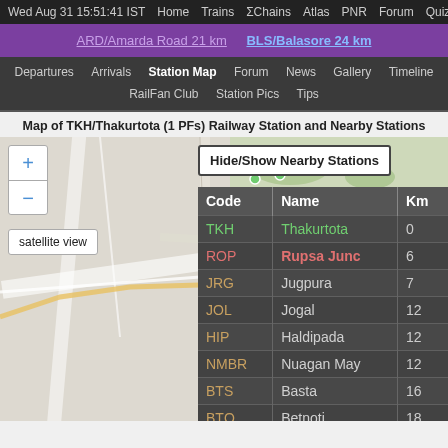Wed Aug 31 15:51:41 IST  Home  Trains  ΣChains  Atlas  PNR  Forum  Quiz
ARD/Amarda Road 21 km   BLS/Balasore 24 km
Departures  Arrivals  Station Map  Forum  News  Gallery  Timeline  RailFan Club  Station Pics  Tips
Map of TKH/Thakurtota (1 PFs) Railway Station and Nearby Stations
[Figure (map): Street map showing TKH/Thakurtota railway station area with zoom controls, satellite view button, and Hide/Show Nearby Stations button]
| Code | Name | Km |
| --- | --- | --- |
| TKH | Thakurtota | 0 |
| ROP | Rupsa Junc | 6 |
| JRG | Jugpura | 7 |
| JOL | Jogal | 12 |
| HIP | Haldipada | 12 |
| NMBR | Nuagan May | 12 |
| BTS | Basta | 16 |
| BTQ | Betnoti | 18 |
| TKPL | Tikirapal | 19 |
| ARD | Amarda Roa | 21 |
| BLS | Balasore | 21+ |